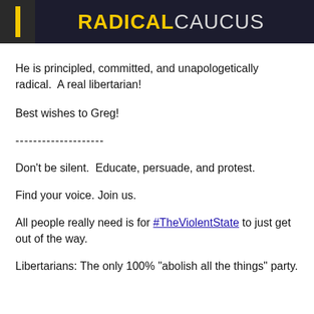[Figure (illustration): Banner image with dark background showing a yellow vertical bar on the left and the text 'RADICAL' in bold yellow and 'CAUCUS' in light gray/white, styled as a logo header.]
He is principled, committed, and unapologetically radical.  A real libertarian!
Best wishes to Greg!
--------------------
Don't be silent.  Educate, persuade, and protest.
Find your voice. Join us.
All people really need is for #TheViolentState to just get out of the way.
Libertarians: The only 100% "abolish all the things" party.